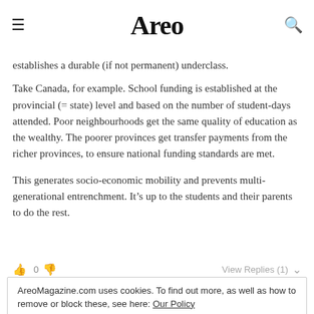Areo
establishes a durable (if not permanent) underclass.
Take Canada, for example. School funding is established at the provincial (= state) level and based on the number of student-days attended. Poor neighbourhoods get the same quality of education as the wealthy. The poorer provinces get transfer payments from the richer provinces, to ensure national funding standards are met.
This generates socio-economic mobility and prevents multi-generational entrenchment. It’s up to the students and their parents to do the rest.
0   View Replies (1)
AreoMagazine.com uses cookies. To find out more, as well as how to remove or block these, see here: Our Policy

Close and accept